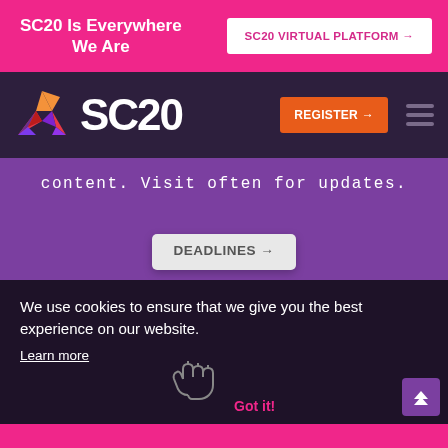SC20 Is Everywhere We Are
SC20 VIRTUAL PLATFORM →
[Figure (logo): SC20 conference logo with colorful geometric bird/flame shape and SC20 text]
REGISTER →
content. Visit often for updates.
DEADLINES →
We use cookies to ensure that we give you the best experience on our website.
Learn more
Got it!